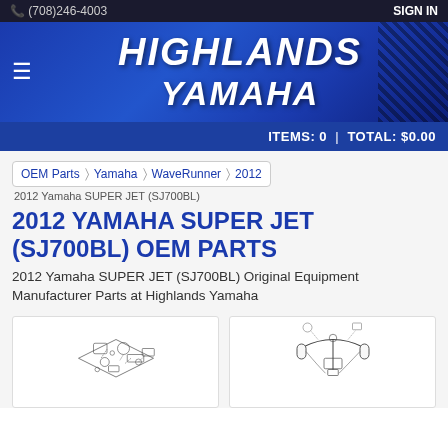(708)246-4003  SIGN IN
[Figure (logo): Highlands Yamaha logo banner with blue gradient background and hamburger menu icon]
ITEMS: 0 | TOTAL: $0.00
OEM Parts > Yamaha > WaveRunner > 2012
2012 Yamaha SUPER JET (SJ700BL)
2012 YAMAHA SUPER JET (SJ700BL) OEM PARTS
2012 Yamaha SUPER JET (SJ700BL) Original Equipment Manufacturer Parts at Highlands Yamaha
[Figure (illustration): OEM parts diagram illustration showing engine/carburetor assembly components with exploded view]
[Figure (illustration): OEM parts diagram illustration showing handlebars/steering assembly components]